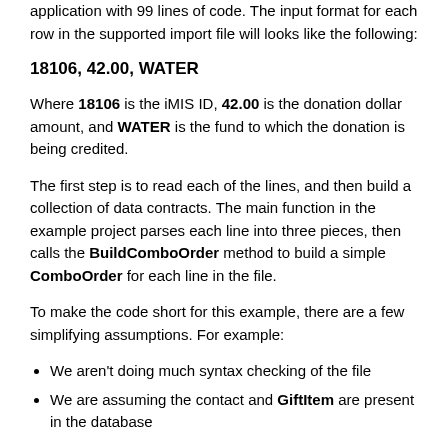application with 99 lines of code. The input format for each row in the supported import file will looks like the following:
18106, 42.00, WATER
Where 18106 is the iMIS ID, 42.00 is the donation dollar amount, and WATER is the fund to which the donation is being credited.
The first step is to read each of the lines, and then build a collection of data contracts. The main function in the example project parses each line into three pieces, then calls the BuildComboOrder method to build a simple ComboOrder for each line in the file.
To make the code short for this example, there are a few simplifying assumptions. For example:
We aren’t doing much syntax checking of the file
We are assuming the contact and GiftItem are present in the database